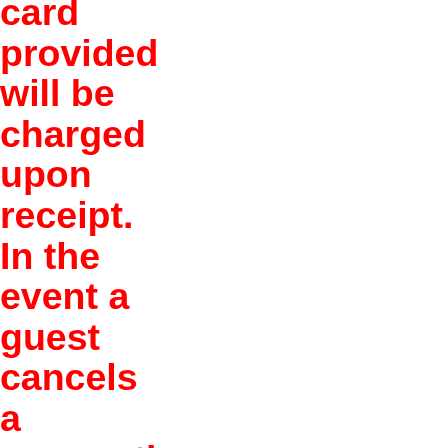card provided will be charged upon receipt. In the event a guest cancels a reservation, the Hotel shall refund deposits if notice is received prior to· 6:00 PM on the scheduled arrival date. The Hotel shall